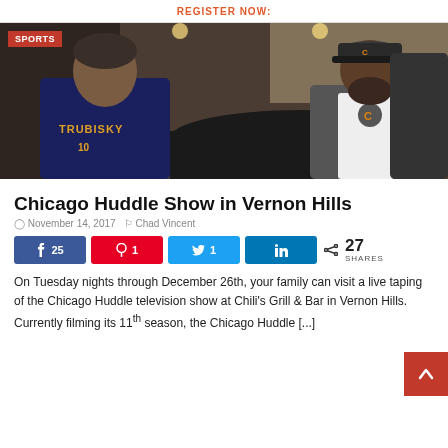REGISTER NOW:
[Figure (photo): Photo of two people at a restaurant table; one wearing a Chicago Bears Trubisky jersey, the other in a Bears jacket, engaged in conversation. A red SPORTS badge overlays the top-left corner.]
Chicago Huddle Show in Vernon Hills
November 14, 2017   Chad Vincent
25  1  1  27 SHARES
On Tuesday nights through December 26th, your family can visit a live taping of the Chicago Huddle television show at Chili's Grill & Bar in Vernon Hills. Currently filming its 11th season, the Chicago Huddle [...]